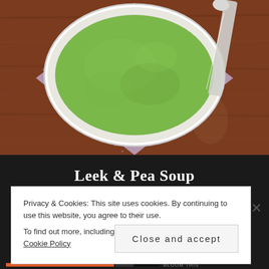[Figure (photo): Overhead view of a white bowl of green leek and pea soup on a purple/lavender napkin on a wooden table, with a spoon visible to the right.]
Leek & Pea Soup
Privacy & Cookies: This site uses cookies. By continuing to use this website, you agree to their use.
To find out more, including how to control cookies, see here: Cookie Policy